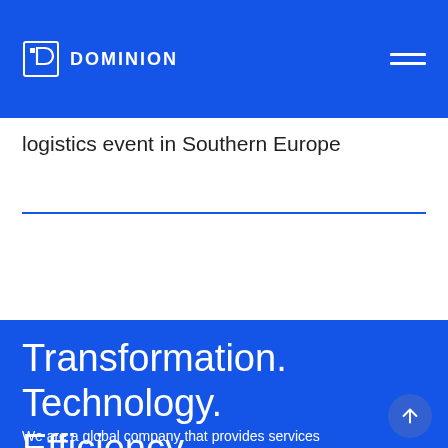[Figure (logo): Dominion company logo: white D icon and DOMINION text on blue navigation bar]
logistics event in Southern Europe
Transformation.
Technology.
Efficiency.
We are a global company that provides services